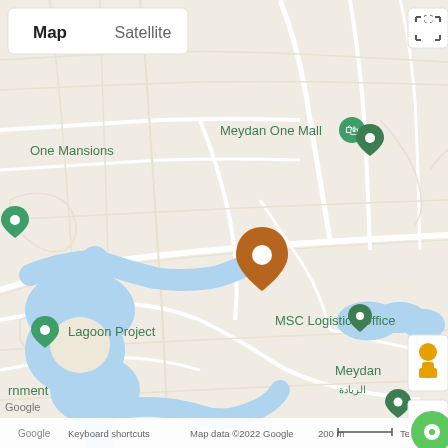[Figure (map): Google Maps screenshot showing Meydan area in Dubai. Features include Meydan One Mall, Mothercare, Lagoon Project, MSC Logistics Office, The Residences at District One, One Mansions. Shows blue waterway/lagoon channels, road network, map controls (Map/Satellite toggle, zoom +/-, Street View pegman, fullscreen button). Bottom bar shows Google logo, Keyboard shortcuts, Map data ©2022 Google, 200m scale, Terms. A brown location pin marker is in the center. A green circular chat/contact button is in the bottom right corner.]